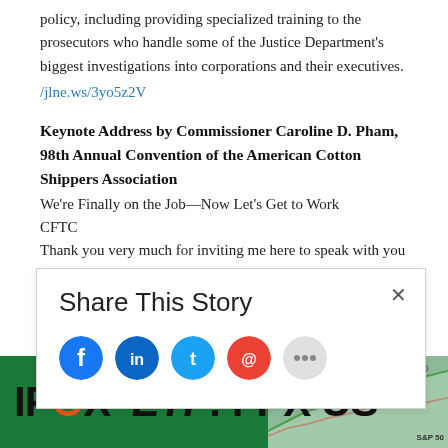policy, including providing specialized training to the prosecutors who handle some of the Justice Department's biggest investigations into corporations and their executives.
/jlne.ws/3yo5z2V
Keynote Address by Commissioner Caroline D. Pham, 98th Annual Convention of the American Cotton Shippers Association
We're Finally on the Job—Now Let's Get to Work
CFTC
Thank you very much for inviting me here to speak with you all today. I'm so glad to be here, especially
Share This Story
[Figure (infographic): IPOX ETF: FPX US advertisement banner with green background and a line chart showing stock performance vs S&P 500]